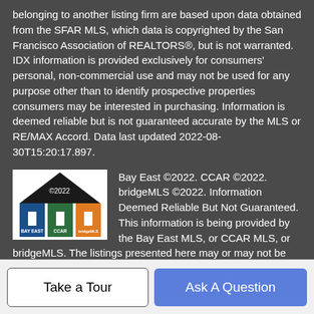belonging to another listing firm are based upon data obtained from the SFAR MLS, which data is copyrighted by the San Francisco Association of REALTORS®, but is not warranted. IDX information is provided exclusively for consumers' personal, non-commercial use and may not be used for any purpose other than to identify prospective properties consumers may be interested in purchasing. Information is deemed reliable but is not guaranteed accurate by the MLS or RE/MAX Accord. Data last updated 2022-08-30T15:20:17.897.
[Figure (logo): Bay East, CCAR, bridgeMLS 2022 logo showing three house icons in blue, green, and orange colors with a black roof and ©2022 text]
Bay East ©2022. CCAR ©2022. bridgeMLS ©2022. Information Deemed Reliable But Not Guaranteed. This information is being provided by the Bay East MLS, or CCAR MLS, or bridgeMLS. The listings presented here may or may not be listed by the Broker/Agent operating this website. This information is intended for the personal use of consumers and may not be used for any purpose other than to identify prospective properties
Take a Tour
Ask A Question